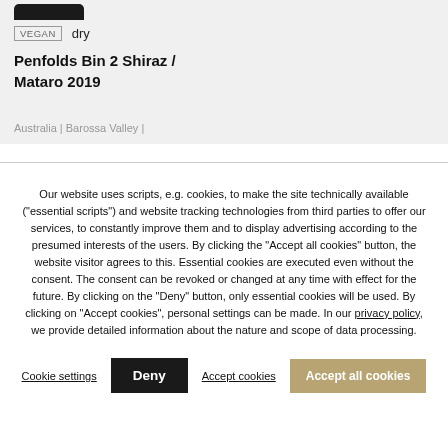[Figure (photo): Bottom of a dark wine bottle shown at top of page]
VEGAN  dry
Penfolds Bin 2 Shiraz / Mataro 2019
Australia | Barossa Valley |
Our website uses scripts, e.g. cookies, to make the site technically available ("essential scripts") and website tracking technologies from third parties to offer our services, to constantly improve them and to display advertising according to the presumed interests of the users. By clicking the "Accept all cookies" button, the website visitor agrees to this. Essential cookies are executed even without the consent. The consent can be revoked or changed at any time with effect for the future. By clicking on the "Deny" button, only essential cookies will be used. By clicking on "Accept cookies", personal settings can be made. In our privacy policy, we provide detailed information about the nature and scope of data processing.
Cookie settings  Deny  Accept cookies  Accept all cookies